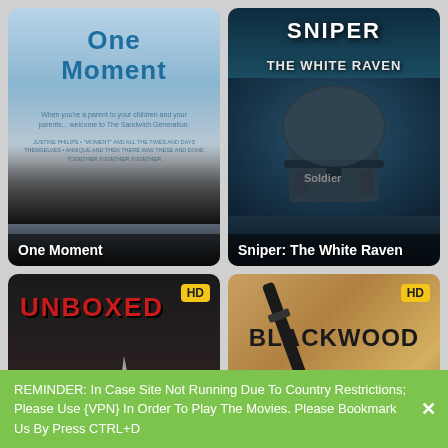[Figure (screenshot): Movie poster grid showing 4 movies: One Moment (top-left), Sniper: The White Raven (top-right), Unboxed with HD badge (bottom-left), Blackwood with HD badge (bottom-right)]
REMINDER: In Case Site Not Running Due To Country Restrictions; Please Use {VPN} In Order To Play The Movies. Please Bookmark Us By Press CTRL+D